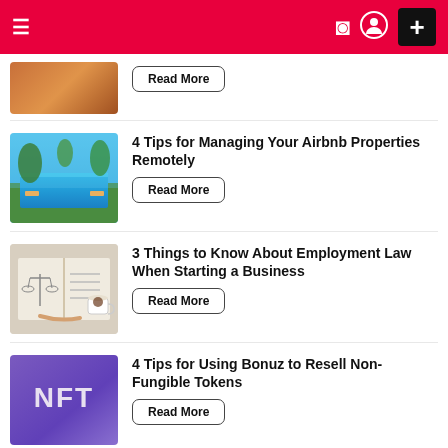≡  ) ⊕  +
[Figure (screenshot): Partial article thumbnail with Read More button]
4 Tips for Managing Your Airbnb Properties Remotely
[Figure (photo): Tropical pool and garden photo thumbnail]
3 Things to Know About Employment Law When Starting a Business
[Figure (photo): Open book with scales of justice drawing and coffee cup]
4 Tips for Using Bonuz to Resell Non-Fungible Tokens
[Figure (illustration): Purple NFT label card thumbnail]
CATEGORIES
Android